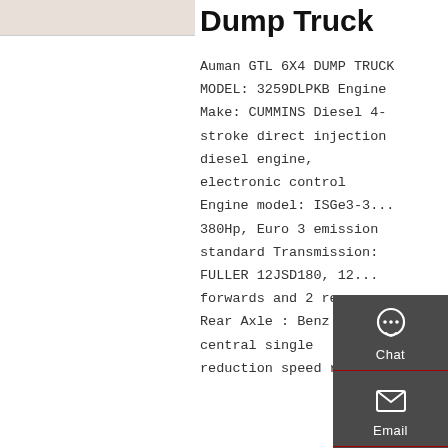[Figure (photo): Partial view of a dump truck image in the top-left corner]
Dump Truck
Auman GTL 6X4 DUMP TRUCK MODEL: 3259DLPKB Engine Make: CUMMINS Diesel 4-stroke direct injection diesel engine, electronic control Engine model: ISGe3-380Hp, Euro 3 emission standard Transmission: FULLER 12JSD180, 12 forwards and 2 reverse Rear Axle : Benz 13 T central single reduction speed raito
[Figure (infographic): Sidebar overlay with Chat, Email, Contact, and Top navigation icons on dark grey background]